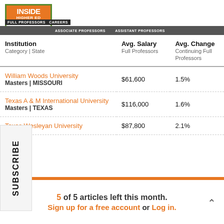[Figure (logo): Inside Higher Ed logo with green border, orange background, and Careers navigation bar]
| Institution
Category | State | Avg. Salary
Full Professors | Avg. Change
Continuing Full Professors |
| --- | --- | --- |
| William Woods University
Masters | MISSOURI | $61,600 | 1.5% |
| Texas A & M International University
Masters | TEXAS | $116,000 | 1.6% |
| Texas Wesleyan University | $87,800 | 2.1% |
5 of 5 articles left this month.
Sign up for a free account or Log in.